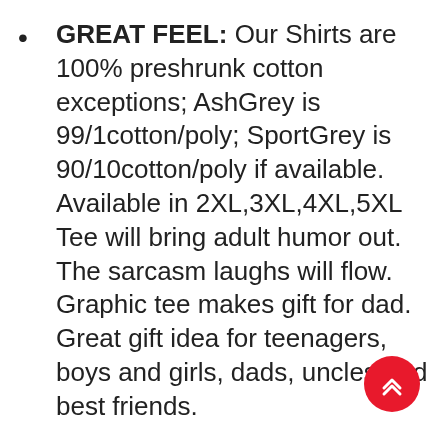GREAT FEEL: Our Shirts are 100% preshrunk cotton exceptions; AshGrey is 99/1cotton/poly; SportGrey is 90/10cotton/poly if available. Available in 2XL,3XL,4XL,5XL Tee will bring adult humor out. The sarcasm laughs will flow. Graphic tee makes gift for dad. Great gift idea for teenagers, boys and girls, dads, uncles and best friends.
HAVE FUN: Get your humor on with this fun tee. The best funny tshirts. Sarcastic and novelty in one tee shirt. Birthday tshirt best cotton tee. This is great old school vintage shirt with a cassette, floppy disk and cassette tape. Only true music fans or computer geeks would undestand. Younger kids can look at the vintage style design. Super soft and who